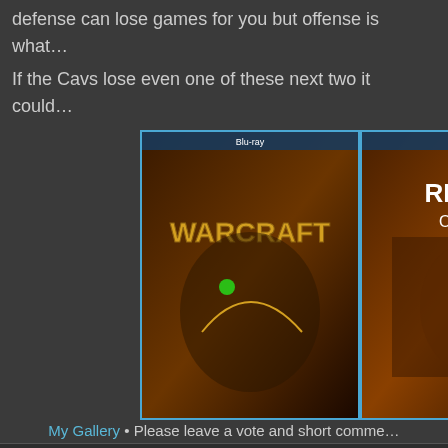defense can lose games for you but offense is what…
If the Cavs lose even one of these next two it could…
[Figure (photo): Gallery of four Blu-ray movie covers: Warcraft, Ready or Not, Elvira, and Once Upon a Time in Hollywood]
My Gallery • Please leave a vote and short comme…
Re: The OFFICIAL SPORTS thread
by chouette » Jun Wed 07, 2017 2:09 pm
Thanks for creating this thread. I will now put it o…